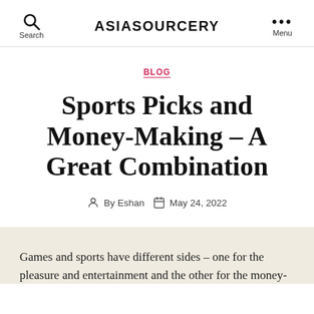ASIASOURCERY
BLOG
Sports Picks and Money-Making – A Great Combination
By Eshan  May 24, 2022
Games and sports have different sides – one for the pleasure and entertainment and the other for the money-